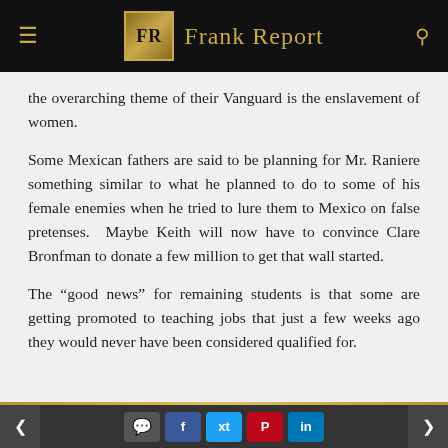Frank Report
the overarching theme of their Vanguard is the enslavement of women.
Some Mexican fathers are said to be planning for Mr. Raniere something similar to what he planned to do to some of his female enemies when he tried to lure them to Mexico on false pretenses.  Maybe Keith will now have to convince Clare Bronfman to donate a few million to get that wall started.
The “good news” for remaining students is that some are getting promoted to teaching jobs that just a few weeks ago they would never have been considered qualified for.
navigation and social share buttons